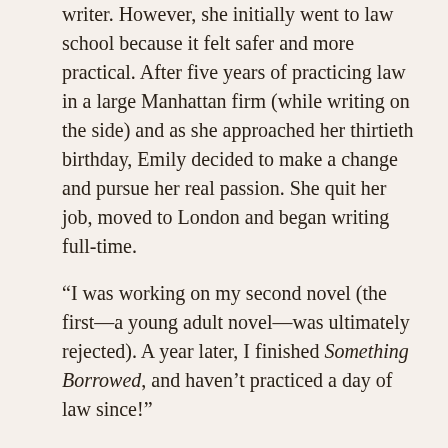writer. However, she initially went to law school because it felt safer and more practical. After five years of practicing law in a large Manhattan firm (while writing on the side) and as she approached her thirtieth birthday, Emily decided to make a change and pursue her real passion. She quit her job, moved to London and began writing full-time.
“I was working on my second novel (the first—a young adult novel—was ultimately rejected). A year later, I finished Something Borrowed, and haven’t practiced a day of law since!”
Today (and lucky for us!) Emily writes a book every other year, while being a Wonder Woman of a Mom. She has a wonderful full-time assistant who keeps her organized, both professionally and personally. This assistant does everything from helping her plan her book tours and other events, to keeping her